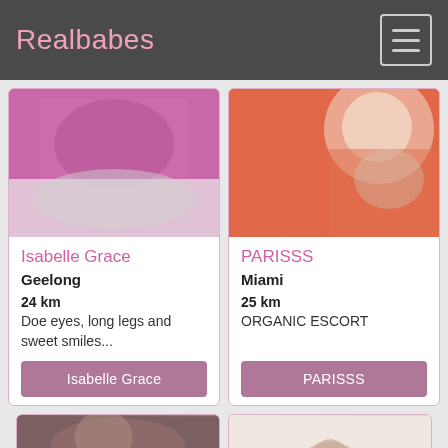Realbabes
[Figure (photo): Woman in purple lingerie on bed]
Isabelle Grace
Geelong
24 km
Doe eyes, long legs and sweet smiles...
Isabelle Grace
[Figure (photo): Blonde woman in coral/red dress with jewelry]
PARISSS
Miami
25 km
ORGANIC ESCORT
PARISSS
[Figure (photo): Partial photo at bottom left]
[Figure (photo): Partial photo at bottom right with face]